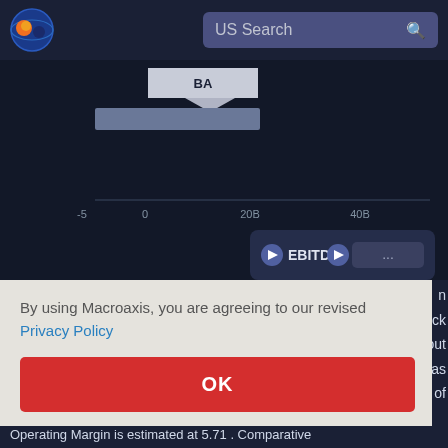[Figure (screenshot): Macroaxis website header with logo and US Search bar on dark navy background]
[Figure (bar-chart): Horizontal bar chart showing BA stock data with EBITDA metric on dark background. X-axis shows values: -5, 0, 20B, 40B. BA label shown at top.]
By using Macroaxis, you are agreeing to our revised Privacy Policy
OK
e stock about ment as alue of
Operating Margin is estimated at 5.71. Comparative